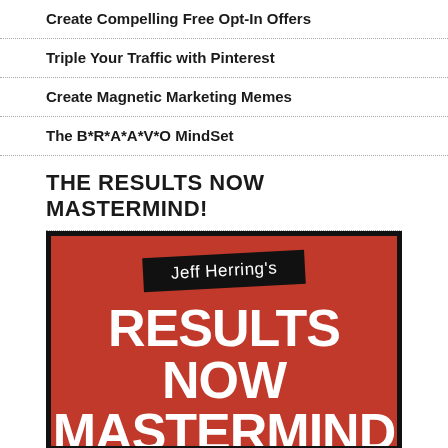Create Compelling Free Opt-In Offers
Triple Your Traffic with Pinterest
Create Magnetic Marketing Memes
The B*R*A*A*V*O MindSet
THE RESULTS NOW MASTERMIND!
[Figure (illustration): Jeff Herring's Results Now Mastermind promotional image — red background with black border, black rotated banner reading 'Jeff Herring's', large white bold text 'RESULTS NOW' and 'MASTERMIND' below]